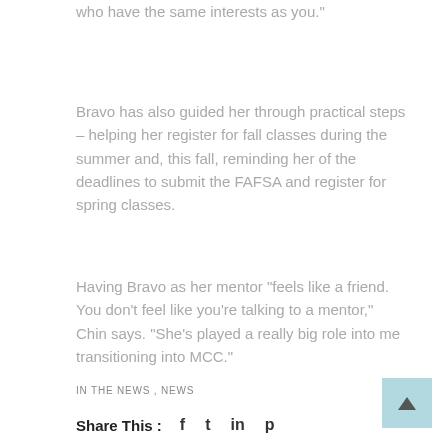who have the same interests as you."
Bravo has also guided her through practical steps – helping her register for fall classes during the summer and, this fall, reminding her of the deadlines to submit the FAFSA and register for spring classes.
Having Bravo as her mentor "feels like a friend. You don't feel like you're talking to a mentor," Chin says. "She's played a really big role into me transitioning into MCC."
IN THE NEWS , NEWS
Share This :